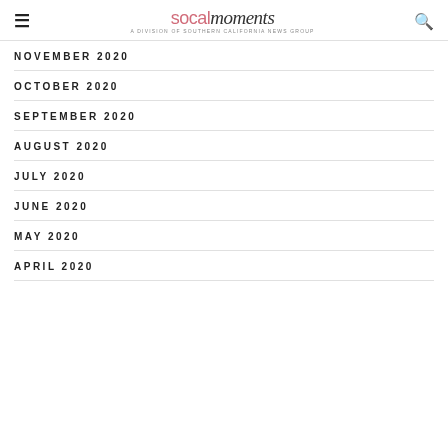socal moments — A DIVISION OF SOUTHERN CALIFORNIA NEWS GROUP
NOVEMBER 2020
OCTOBER 2020
SEPTEMBER 2020
AUGUST 2020
JULY 2020
JUNE 2020
MAY 2020
APRIL 2020